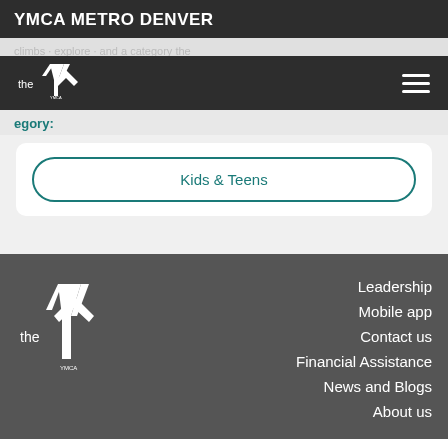YMCA METRO DENVER
Category:
Kids & Teens
[Figure (logo): YMCA 'the Y' logo in white on dark background, footer version]
Leadership
Mobile app
Contact us
Financial Assistance
News and Blogs
About us